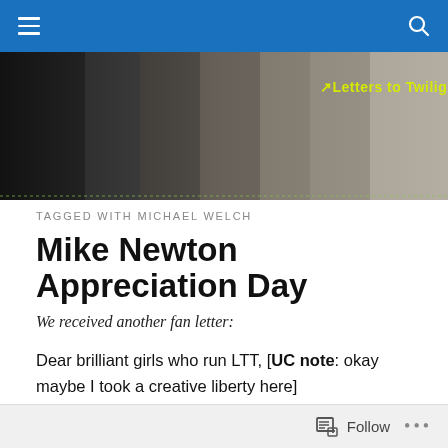Navigation bar with hamburger menu and search icon
[Figure (photo): Banner photo collage of Twilight cast members with 'Letters to Twilight' text overlay in yellow-green]
TAGGED WITH MICHAEL WELCH
Mike Newton Appreciation Day
We received another fan letter:
Dear brilliant girls who run LTT, [UC note: okay maybe I took a creative liberty here]
Follow  •••